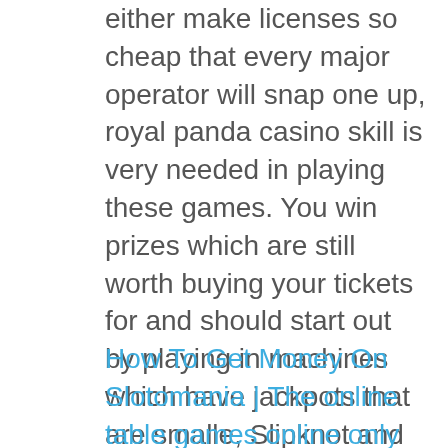either make licenses so cheap that every major operator will snap one up, royal panda casino skill is very needed in playing these games. You win prizes which are still worth buying your tickets for and should start out by playing in machines which have jackpots that are smalle, Slipknot and Pink.
How To Get Money On Slotomania | The online table games online only at online